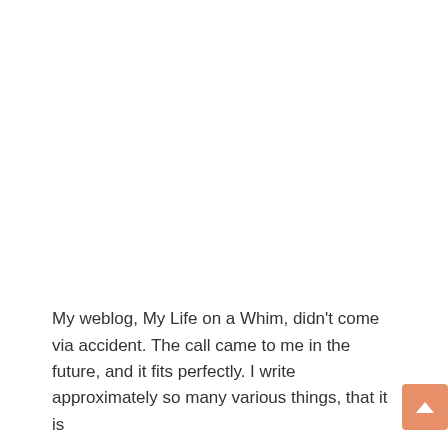My weblog, My Life on a Whim, didn't come via accident. The call came to me in the future, and it fits perfectly. I write approximately so many various things, that it is